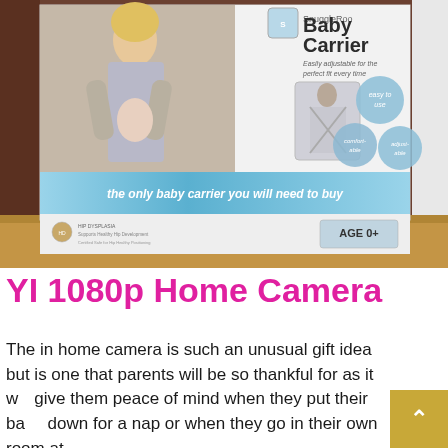[Figure (photo): Photo of a SnuggleRoo Baby Carrier product box showing a woman wearing the baby carrier with an infant, feature bubbles (easy to use, comfortable, adjustable), an inset image of the carrier from behind, a blue banner reading 'the only baby carrier you will need to buy', hip dysplasia logo, and AGE 0+ badge. Box sits on a wooden surface.]
YI 1080p Home Camera
The in home camera is such an unusual gift idea but is one that parents will be so thankful for as it will give them peace of mind when they put their baby down for a nap or when they go in their own room at